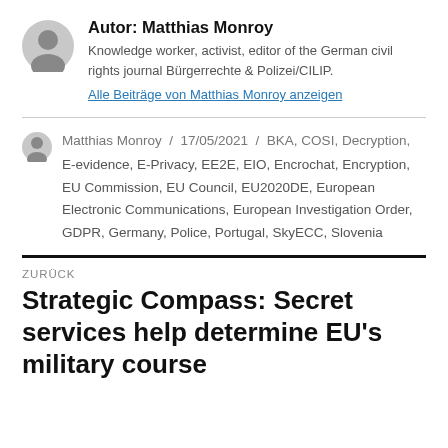Autor: Matthias Monroy
Knowledge worker, activist, editor of the German civil rights journal Bürgerrechte & Polizei/CILIP.
Alle Beiträge von Matthias Monroy anzeigen
Matthias Monroy / 17/05/2021 / BKA, COSI, Decryption, E-evidence, E-Privacy, EE2E, EIO, Encrochat, Encryption, EU Commission, EU Council, EU2020DE, European Electronic Communications, European Investigation Order, GDPR, Germany, Police, Portugal, SkyECC, Slovenia
ZURÜCK
Strategic Compass: Secret services help determine EU's military course